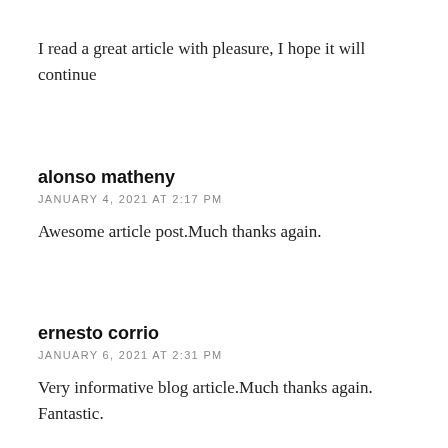I read a great article with pleasure, I hope it will continue
alonso matheny
JANUARY 4, 2021 AT 2:17 PM
Awesome article post.Much thanks again.
ernesto corrio
JANUARY 6, 2021 AT 2:31 PM
Very informative blog article.Much thanks again. Fantastic.